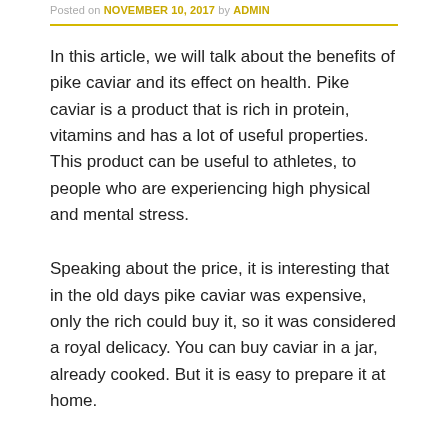Posted on NOVEMBER 10, 2017 by ADMIN
In this article, we will talk about the benefits of pike caviar and its effect on health. Pike caviar is a product that is rich in protein, vitamins and has a lot of useful properties. This product can be useful to athletes, to people who are experiencing high physical and mental stress.
Speaking about the price, it is interesting that in the old days pike caviar was expensive, only the rich could buy it, so it was considered a royal delicacy. You can buy caviar in a jar, already cooked. But it is easy to prepare it at home.
To prepare it at home, this product from a chilled or fresh pike you need to clean from unnecessary films, put in a colander, rinse with boiling water. You need to add salt and mix. Put in a jar and cover with a layer of vegetable oil. Then you must store the caviar in the cold. This product is useful for those who have lowered